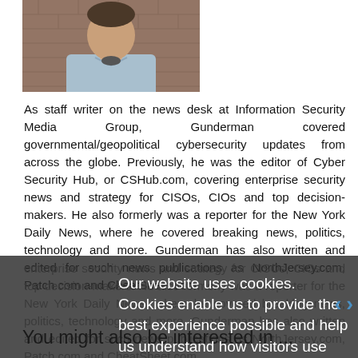[Figure (photo): Headshot photo of a man in a light blue shirt against a brick wall background]
As staff writer on the news desk at Information Security Media Group, Gunderman covered governmental/geopolitical cybersecurity updates from across the globe. Previously, he was the editor of Cyber Security Hub, or CSHub.com, covering enterprise security news and strategy for CISOs, CIOs and top decision-makers. He also formerly was a reporter for the New York Daily News, where he covered breaking news, politics, technology and more. Gunderman has also written and edited for such news publications as NorthJersey.com, Patch.com and CheatSheet.com.
Our website uses cookies. Cookies enable us to provide the best experience possible and help us understand how visitors use our website. By browsing databreachtoday.com, you agree to our use of cookies.
You might also be interested in ...